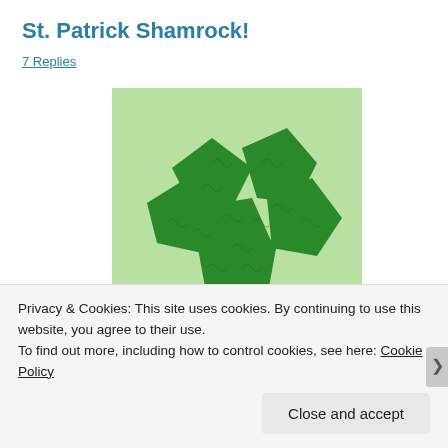St. Patrick Shamrock!
7 Replies
[Figure (illustration): A quilted shamrock/four-leaf clover block with dark green patterned fabric on a light green mottled background. The shamrock has four rounded lobes arranged symmetrically with angular geometric piecing.]
Privacy & Cookies: This site uses cookies. By continuing to use this website, you agree to their use.
To find out more, including how to control cookies, see here: Cookie Policy
Close and accept